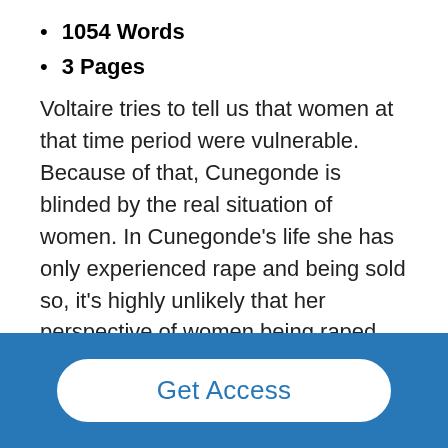1054 Words
3 Pages
Voltaire tries to tell us that women at that time period were vulnerable. Because of that, Cunegonde is blinded by the real situation of women. In Cunegonde's life she has only experienced rape and being sold so, it's highly unlikely that her perspective of women being raped will change. Women probably felt offended because Cunegonde is basically saying how it's better to be raped more than once in order for you to be virtuous. Besides women, some men probably felt responsible for how women were treated and all of this happened was due to men
Get Access